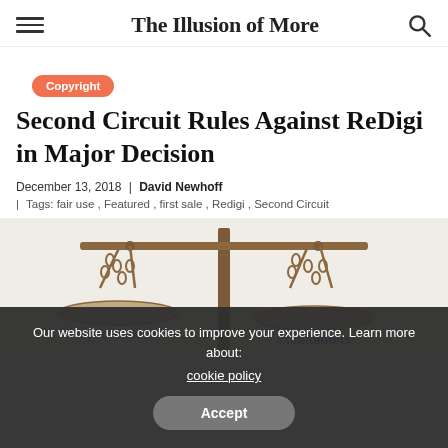The Illusion of More
Copyright
Second Circuit Rules Against ReDigi in Major Decision
December 13, 2018 | David Newhoff
Tags: fair use , Featured , first sale , Redigi , Second Circuit
[Figure (illustration): Scales of justice image showing two pans suspended by chains from a central post. The left pan is labeled '©protections' in blue text, and the right pan is labeled '©limitations' in blue text.]
Our website uses cookies to improve your experience. Learn more about: cookie policy
Accept